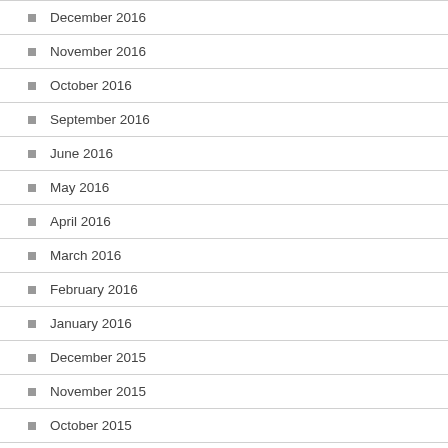December 2016
November 2016
October 2016
September 2016
June 2016
May 2016
April 2016
March 2016
February 2016
January 2016
December 2015
November 2015
October 2015
September 2015
August 2015